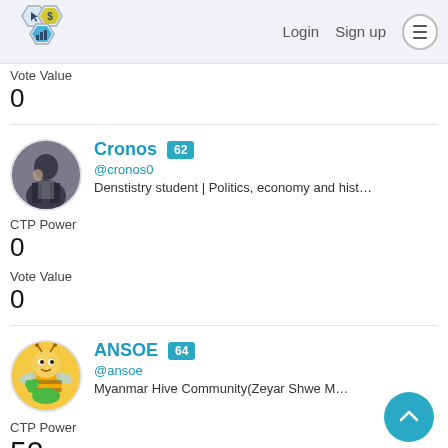Login  Sign up
Vote Value
0
Cronos  62
@cronos0
Denstistry student | Politics, economy and history blogger | Nat
CTP Power
0
Vote Value
0
ANSOE  64
@ansoe
Myanmar Hive Community(Zeyar Shwe Myay)
CTP Power
50
Vote Value